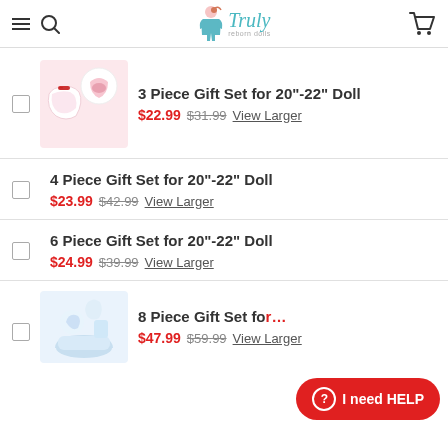Truly reborn dolls
3 Piece Gift Set for 20"-22" Doll — $22.99 (was $31.99) — View Larger
4 Piece Gift Set for 20"-22" Doll — $23.99 (was $42.99) — View Larger
6 Piece Gift Set for 20"-22" Doll — $24.99 (was $39.99) — View Larger
8 Piece Gift Set for 20"-22" Doll — $47.99 (was $59.99) — View Larger